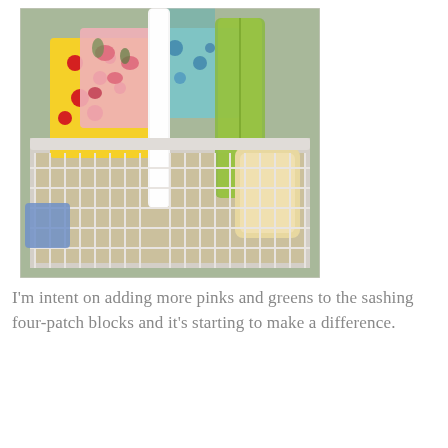[Figure (photo): A white wire basket filled with colorful fabric scraps and quilting materials including pink, yellow, green, blue, and floral patterned fabrics, along with rolls of ribbon or trim in yellow-green.]
I'm intent on adding more pinks and greens to the sashing four-patch blocks and it's starting to make a difference.